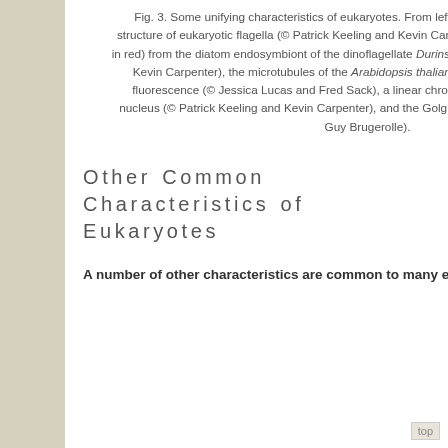Fig. 3. Some unifying characteristics of eukaryotes. From left to right: the 9+2 microtubule structure of eukaryotic flagella (© Patrick Keeling and Kevin Carpenter), the nucleus (highlighted in red) from the diatom endosymbiont of the dinoflagellate Durinskia baltica (© Patrick Keeling and Kevin Carpenter), the microtubules of the Arabidopsis thaliana cytoskeleton highlighted by fluorescence (© Jessica Lucas and Fred Sack), a linear chromosome from a dinoflagellate nucleus (© Patrick Keeling and Kevin Carpenter), and the Golgi body from Microjoenia fallax (© Guy Brugerolle).
Other Common Characteristics of Eukaryotes
A number of other characteristics are common to many eukaryotes.